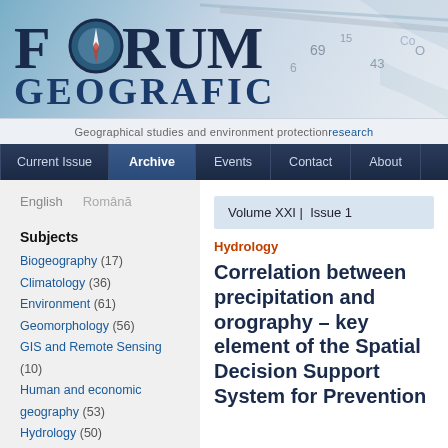[Figure (logo): Forum Geografic journal logo with compass graphic and map background]
Geographical studies and environment protection research
Current Issue | Archive | Events | Contact | About
English
Română
Subjects
Biogeography (17)
Climatology (36)
Environment (61)
Geomorphology (56)
GIS and Remote Sensing (10)
Human and economic geography (53)
Hydrology (50)
Regional geography (41)
Tourism (34)
Various (28)
Volume XXI | Issue 1
Hydrology
Correlation between precipitation and orography – key element of the Spatial Decision Support System for Prevention